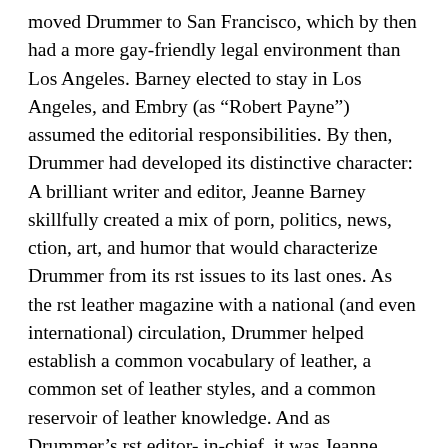moved Drummer to San Francisco, which by then had a more gay-friendly legal environment than Los Angeles. Barney elected to stay in Los Angeles, and Embry (as “Robert Payne”) assumed the editorial responsibilities. By then, Drummer had developed its distinctive character: A brilliant writer and editor, Jeanne Barney skillfully created a mix of porn, politics, news, ction, art, and humor that would characterize Drummer from its rst issues to its last ones. As the rst leather magazine with a national (and even international) circulation, Drummer helped establish a common vocabulary of leather, a common set of leather styles, and a common reservoir of leather knowledge. And as Drummer’s rst editor- in-chief, it was Jeanne Barney who provided both the template and much of the substance of what we now know as leather culture. Check out my other items. Be sure to add me to your favorites list. The item “ARTHUR EVANS Gay Rights Activist 1975 Hand